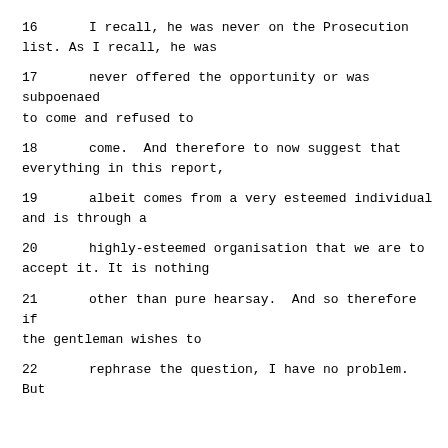16     I recall, he was never on the Prosecution list.  As I recall, he was
17     never offered the opportunity or was subpoenaed to come and refused to
18     come.  And therefore to now suggest that everything in this report,
19     albeit comes from a very esteemed individual and is through a
20     highly-esteemed organisation that we are to accept it.  It is nothing
21     other than pure hearsay.  And so therefore if the gentleman wishes to
22     rephrase the question, I have no problem.  But